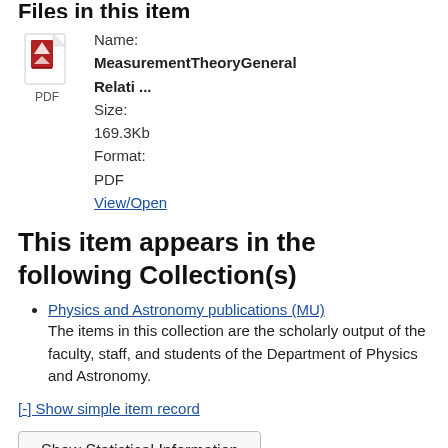Files in this item
[Figure (other): PDF file icon with red triangle/paper corner design and 'PDF' label below]
Name: MeasurementTheoryGeneralRelati ...
Size: 169.3Kb
Format: PDF
View/Open
This item appears in the following Collection(s)
Physics and Astronomy publications (MU) — The items in this collection are the scholarly output of the faculty, staff, and students of the Department of Physics and Astronomy.
[-] Show simple item record
Show Statistical Information